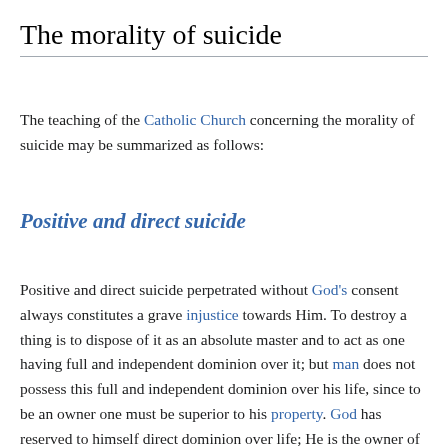The morality of suicide
The teaching of the Catholic Church concerning the morality of suicide may be summarized as follows:
Positive and direct suicide
Positive and direct suicide perpetrated without God's consent always constitutes a grave injustice towards Him. To destroy a thing is to dispose of it as an absolute master and to act as one having full and independent dominion over it; but man does not possess this full and independent dominion over his life, since to be an owner one must be superior to his property. God has reserved to himself direct dominion over life; He is the owner of its substance and He has given man only the serviceable dominion, the right of use, with the charge of protecting and preserving the